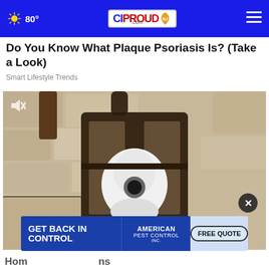80° CIPROUD.com
Do You Know What Plaque Psoriasis Is? (Take a Look)
Smart Lifestyle Trends
[Figure (photo): Close-up video still of an outdoor wall lantern with a white smart camera bulb installed inside, mounted on a stone wall. A hand with a painted fingernail reaches toward it. Mute icon visible in top left.]
[Figure (screenshot): American Pest Control advertisement banner: GET BACK IN CONTROL on the left, American Pest Control logo in the middle, FREE QUOTE button on the right.]
Hom... ns